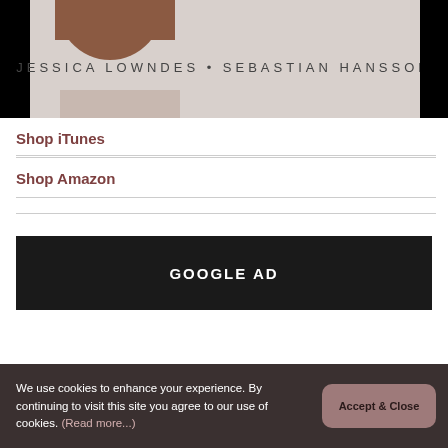[Figure (photo): Partial photo strip showing a person and text 'JESSICA LOWNDES • SEBASTIAN HANSSON' in spaced uppercase letters on a light background, flanked by black areas on either side.]
Shop iTunes
Shop Amazon
GOOGLE AD
We use cookies to enhance your experience. By continuing to visit this site you agree to our use of cookies. (Read more...)